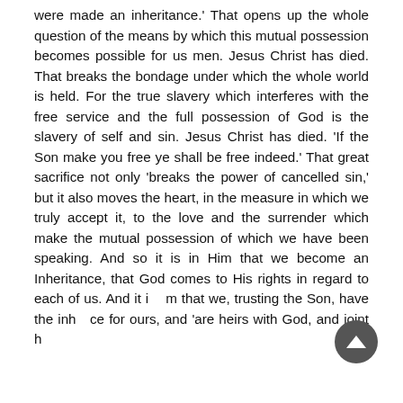were made an inheritance.' That opens up the whole question of the means by which this mutual possession becomes possible for us men. Jesus Christ has died. That breaks the bondage under which the whole world is held. For the true slavery which interferes with the free service and the full possession of God is the slavery of self and sin. Jesus Christ has died. 'If the Son make you free ye shall be free indeed.' That great sacrifice not only 'breaks the power of cancelled sin,' but it also moves the heart, in the measure in which we truly accept it, to the love and the surrender which make the mutual possession of which we have been speaking. And so it is in Him that we become an Inheritance, that God comes to His rights in regard to each of us. And it i[...]m that we, trusting the Son, have the inh[...]ce for ours, and 'are heirs with God, and joint h[eirs with Christ' So also if so...]